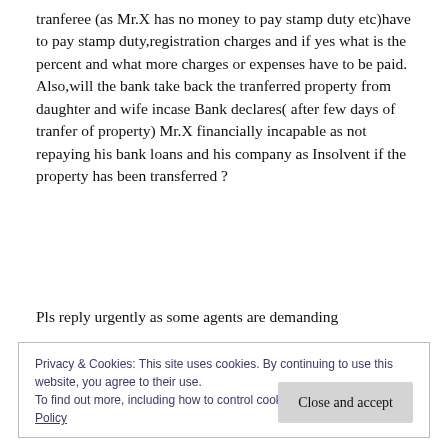tranferee (as Mr.X has no money to pay stamp duty etc)have to pay stamp duty,registration charges and if yes what is the percent and what more charges or expenses have to be paid.
Also,will the bank take back the tranferred property from daughter and wife incase Bank declares( after few days of tranfer of property) Mr.X financially incapable as not repaying his bank loans and his company as Insolvent if the property has been transferred ?
Pls reply urgently as some agents are demanding
Privacy & Cookies: This site uses cookies. By continuing to use this website, you agree to their use.
To find out more, including how to control cookies, see here: Cookie Policy